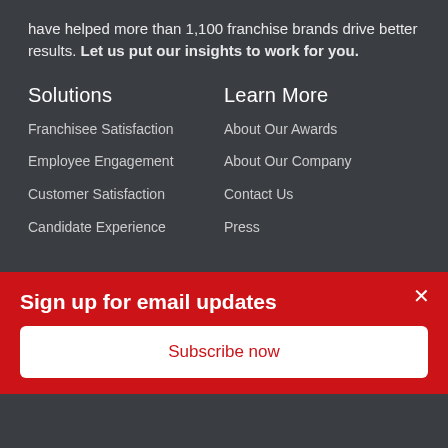have helped more than 1,100 franchise brands drive better results. Let us put our insights to work for you.
Solutions
Franchisee Satisfaction
Employee Engagement
Customer Satisfaction
Candidate Experience
Learn More
About Our Awards
About Our Company
Contact Us
Press
Sign up for email updates
Subscribe now